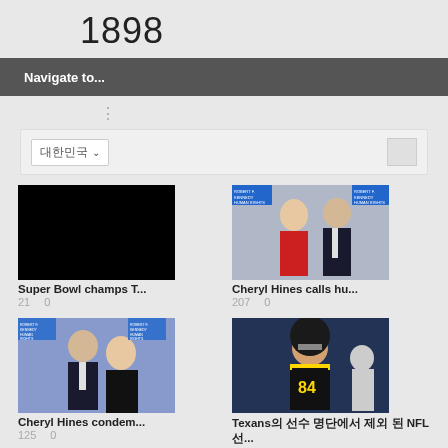1898
Navigate to...
[Figure (screenshot): Dropdown UI with Korean characters and search button]
[Figure (photo): Black rectangle image thumbnail]
[Figure (photo): Couple at Kennedy Human Rights event - woman in red dress, man in dark suit]
Super Bowl champs T...
21   0
Cheryl Hines calls hu...
207   0
[Figure (photo): Couple at Kennedy Human Rights event - man in suit, woman in black dress]
[Figure (photo): NFL football player in Steelers uniform]
Cheryl Hines condem...
125   0
Texans의 선수 명단에서 제외 된 NFL 선...
55   0